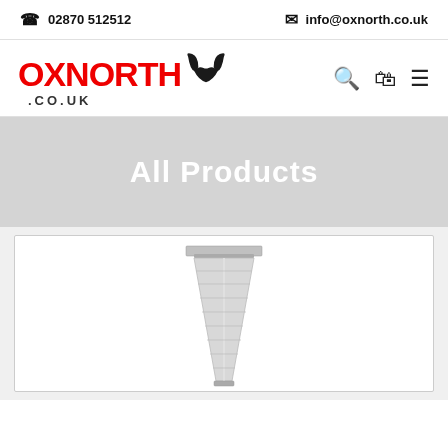☎ 02870 512512   ✉ info@oxnorth.co.uk
[Figure (logo): OXNORTH.CO.UK logo with red text and bull horns icon, alongside search, cart and menu icons]
All Products
[Figure (photo): A tall pyramid-shaped stainless steel patio heater with glass tube flame effect, shown against white background inside a product card]